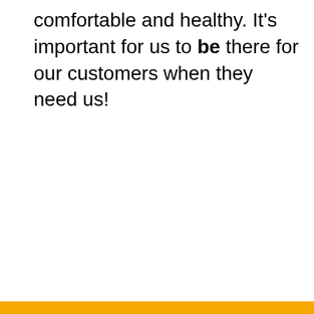comfortable and healthy. It's important for us to be there for our customers when they need us!